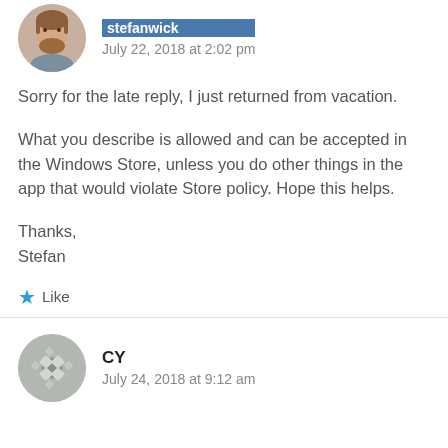[Figure (photo): Circular avatar photo of a man with a beard, brown hair]
stefanwick
July 22, 2018 at 2:02 pm
Sorry for the late reply, I just returned from vacation.
What you describe is allowed and can be accepted in the Windows Store, unless you do other things in the app that would violate Store policy. Hope this helps.
Thanks,
Stefan
Like
[Figure (illustration): Circular avatar with decorative geometric pattern in gray tones, initials CY]
CY
July 24, 2018 at 9:12 am